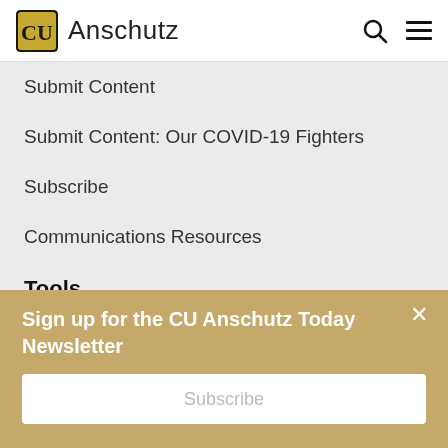CU Anschutz
Submit Content
Submit Content: Our COVID-19 Fighters
Subscribe
Communications Resources
Tools
Faculty/Staff Directory
A-Z Index
Find a Doctor
Sign up for the CU Anschutz Today Newsletter
Subscribe